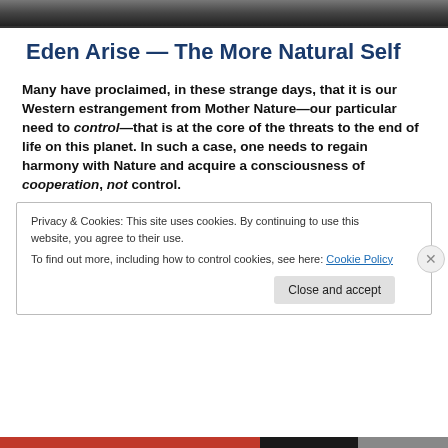[Figure (photo): Partial image at top of page showing a dark/muted photographic scene, cropped.]
Eden Arise — The More Natural Self
Many have proclaimed, in these strange days, that it is our Western estrangement from Mother Nature—our particular need to control—that is at the core of the threats to the end of life on this planet. In such a case, one needs to regain harmony with Nature and acquire a consciousness of cooperation, not control.
Privacy & Cookies: This site uses cookies. By continuing to use this website, you agree to their use.
To find out more, including how to control cookies, see here: Cookie Policy